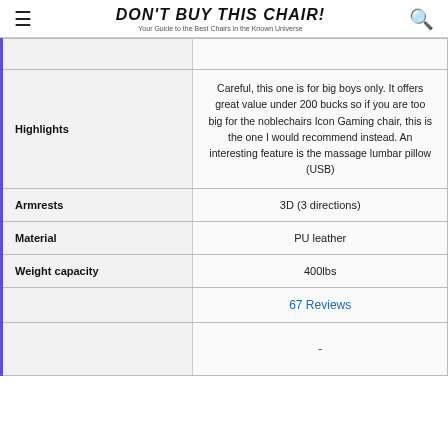DON'T BUY THIS CHAIR! Your Guide to the Best Chairs in the Known Universe
|  |  |
| --- | --- |
|  |  |
| Highlights | Careful, this one is for big boys only. It offers great value under 200 bucks so if you are too big for the noblechairs Icon Gaming chair, this is the one I would recommend instead. An interesting feature is the massage lumbar pillow (USB) |
| Armrests | 3D (3 directions) |
| Material | PU leather |
| Weight capacity | 400lbs |
|  | 67 Reviews |
|  | - |